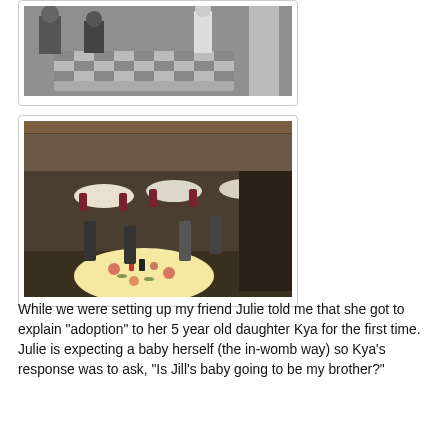[Figure (photo): Black and white photo of people standing around a table with a checkered tablecloth in an indoor setting]
[Figure (photo): Color photo of a banquet hall with round tables covered in floral tablecloths, folding chairs, and dim lighting]
While we were setting up my friend Julie told me that she got to explain "adoption" to her 5 year old daughter Kya for the first time. Julie is expecting a baby herself (the in-womb way) so Kya's response was to ask, "Is Jill's baby going to be my brother?"